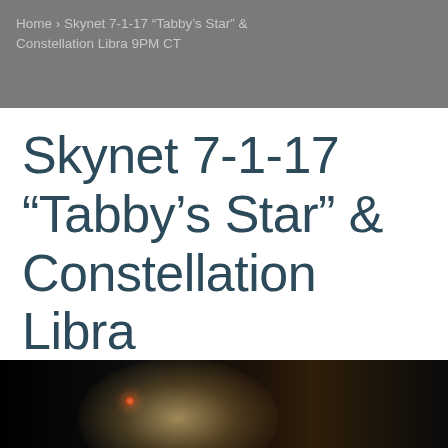Home › Skynet 7-1-17 "Tabby's Star" & Constellation Libra 9PM CT
Skynet 7-1-17 “Tabby’s Star” & Constellation Libra 9PM CT
July 1, 2017   ke5icx   News
[Figure (photo): Dark astronomical image showing a bright glowing light source (star/planet) on the right side with a smaller red star on the left against a black background]